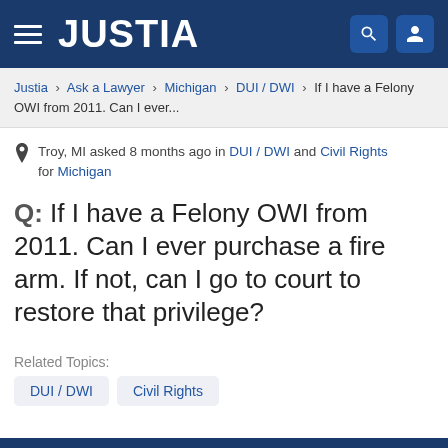JUSTIA
Justia > Ask a Lawyer > Michigan > DUI / DWI > If I have a Felony OWI from 2011. Can I ever...
Troy, MI asked 8 months ago in DUI / DWI and Civil Rights for Michigan
Q: If I have a Felony OWI from 2011. Can I ever purchase a fire arm. If not, can I go to court to restore that privilege?
Related Topics:
DUI / DWI
Civil Rights